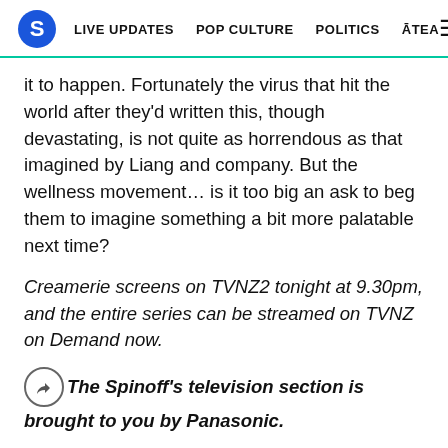S | LIVE UPDATES  POP CULTURE  POLITICS  ĀTEA
it to happen. Fortunately the virus that hit the world after they'd written this, though devastating, is not quite as horrendous as that imagined by Liang and company. But the wellness movement... is it too big an ask to beg them to imagine something a bit more palatable next time?
Creamerie screens on TVNZ2 tonight at 9.30pm, and the entire series can be streamed on TVNZ on Demand now.
The Spinoff's television section is brought to you by Panasonic.